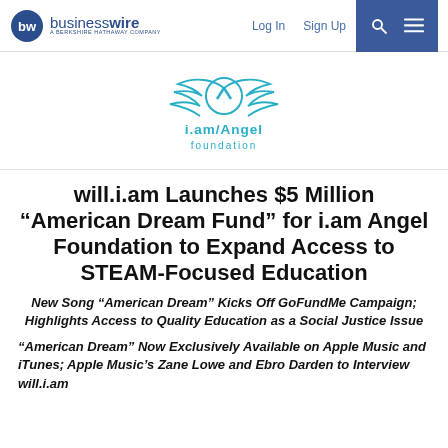businesswire — A BERKSHIRE HATHAWAY COMPANY | Log In | Sign Up
[Figure (logo): i.am/Angel foundation logo — stylized wings with circle and chevron in light blue, with text 'i.am/Angel foundation' below in cyan/blue]
will.i.am Launches $5 Million “American Dream Fund” for i.am Angel Foundation to Expand Access to STEAM-Focused Education
New Song “American Dream” Kicks Off GoFundMe Campaign; Highlights Access to Quality Education as a Social Justice Issue
“American Dream” Now Exclusively Available on Apple Music and iTunes; Apple Music’s Zane Lowe and Ebro Darden to Interview will.i.am